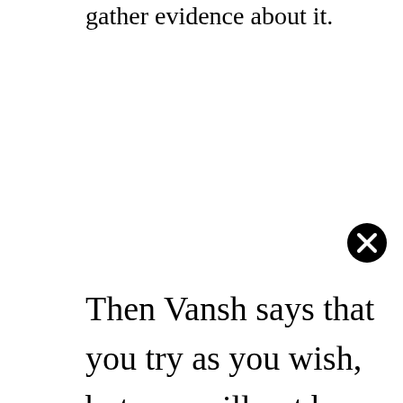gather evidence about it.
[Figure (other): Close/dismiss button — black circle with white X]
Then Vansh says that you try as you wish, but you will not be able to find out about Ragini’s murder and